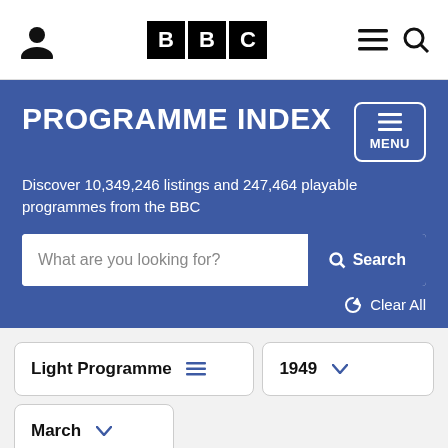BBC Programme Index navigation bar with user icon, BBC logo, menu and search icons
PROGRAMME INDEX
Discover 10,349,246 listings and 247,464 playable programmes from the BBC
What are you looking for? Search | Clear All
Light Programme  1949
March
Sun  Mon  Tue  Wed  Thu